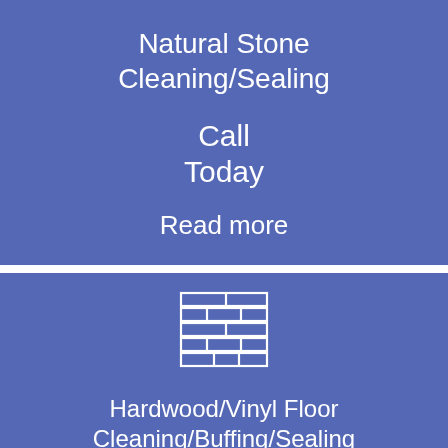Natural Stone Cleaning/Sealing
Call
Today
Read more
[Figure (illustration): White outline icon of a brick/tile floor pattern on blue background]
Hardwood/Vinyl Floor Cleaning/Buffing/Sealing
65¢